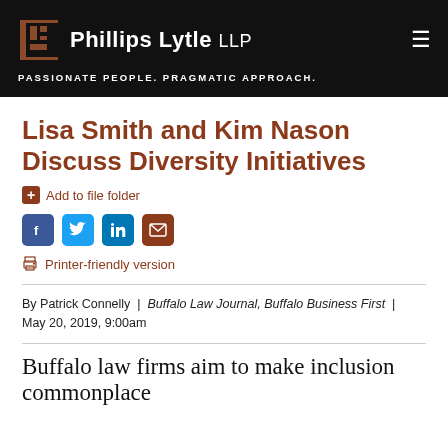Phillips Lytle LLP — PASSIONATE PEOPLE. PRAGMATIC APPROACH.
Lisa Smith and Kim Nason Discuss Diversity Initiatives
Add to file folder
[Figure (infographic): Social share icons: Facebook, Twitter, LinkedIn, Email]
Printer-friendly version
By Patrick Connelly | Buffalo Law Journal, Buffalo Business First | May 20, 2019, 9:00am
Buffalo law firms aim to make inclusion commonplace